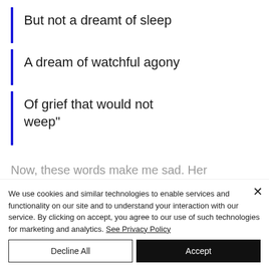But not a dreamt of sleep
A dream of watchful agony
Of grief that would not weep"
Now, these words make me sad. Her
We use cookies and similar technologies to enable services and functionality on our site and to understand your interaction with our service. By clicking on accept, you agree to our use of such technologies for marketing and analytics. See Privacy Policy
Decline All
Accept
Cookie Settings